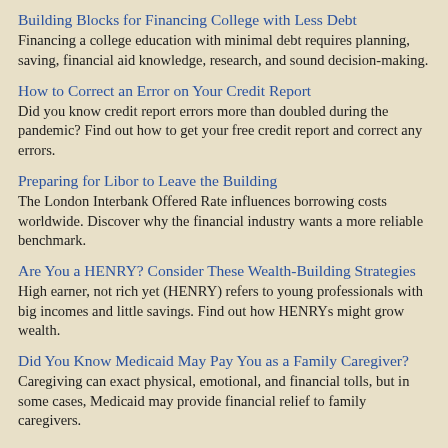Building Blocks for Financing College with Less Debt
Financing a college education with minimal debt requires planning, saving, financial aid knowledge, research, and sound decision-making.
How to Correct an Error on Your Credit Report
Did you know credit report errors more than doubled during the pandemic? Find out how to get your free credit report and correct any errors.
Preparing for Libor to Leave the Building
The London Interbank Offered Rate influences borrowing costs worldwide. Discover why the financial industry wants a more reliable benchmark.
Are You a HENRY? Consider These Wealth-Building Strategies
High earner, not rich yet (HENRY) refers to young professionals with big incomes and little savings. Find out how HENRYs might grow wealth.
Did You Know Medicaid May Pay You as a Family Caregiver?
Caregiving can exact physical, emotional, and financial tolls, but in some cases, Medicaid may provide financial relief to family caregivers.
January
HOT TOPIC: The Fed Pivots to Fight Inflation
This article looks at the strategy behind the Fed's monetary policy shift and the potential consequences for consumers, investors, and the